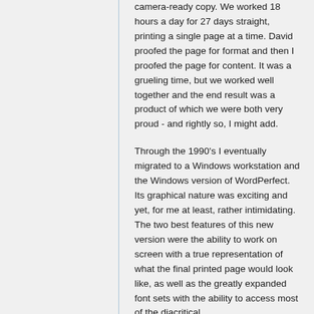camera-ready copy. We worked 18 hours a day for 27 days straight, printing a single page at a time. David proofed the page for format and then I proofed the page for content. It was a grueling time, but we worked well together and the end result was a product of which we were both very proud - and rightly so, I might add.
Through the 1990's I eventually migrated to a Windows workstation and the Windows version of WordPerfect. Its graphical nature was exciting and yet, for me at least, rather intimidating. The two best features of this new version were the ability to work on screen with a true representation of what the final printed page would look like, as well as the greatly expanded font sets with the ability to access most of the diacritical